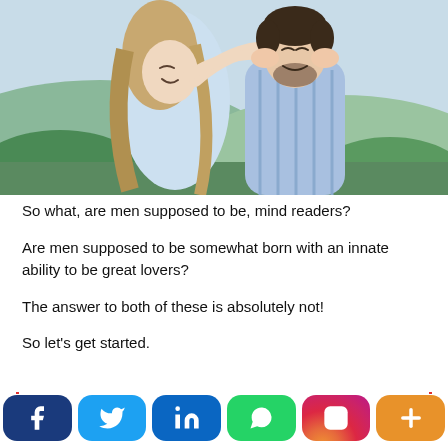[Figure (photo): A couple facing each other closely, woman holding man's face, both smiling, outdoor setting with greenery and hills in background]
So what, are men supposed to be, mind readers?
Are men supposed to be somewhat born with an innate ability to be great lovers?
The answer to both of these is absolutely not!
So let’s get started.
[Figure (infographic): Social media sharing buttons: Facebook, Twitter, LinkedIn, WhatsApp, Instagram, More]